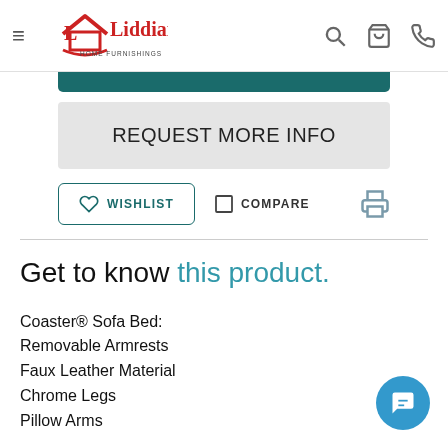Liddiard Home Furnishings — navigation header with hamburger menu, logo, search, cart, and phone icons
REQUEST MORE INFO
WISHLIST   COMPARE
Get to know this product.
Coaster® Sofa Bed: Removable Armrests Faux Leather Material Chrome Legs Pillow Arms